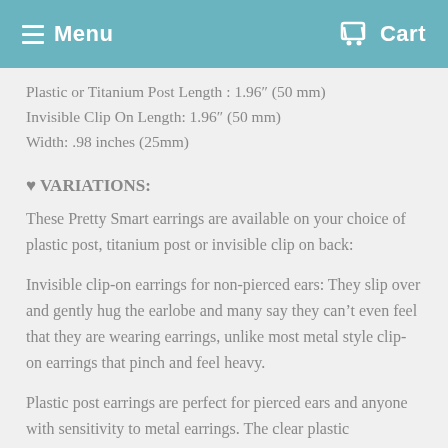Menu  Cart
Plastic or Titanium Post Length : 1.96″ (50 mm)
Invisible Clip On Length: 1.96″ (50 mm)
Width: .98 inches (25mm)
♥ VARIATIONS:
These Pretty Smart earrings are available on your choice of plastic post, titanium post or invisible clip on back:
Invisible clip-on earrings for non-pierced ears: They slip over and gently hug the earlobe and many say they can’t even feel that they are wearing earrings, unlike most metal style clip-on earrings that pinch and feel heavy.
Plastic post earrings are perfect for pierced ears and anyone with sensitivity to metal earrings. The clear plastic